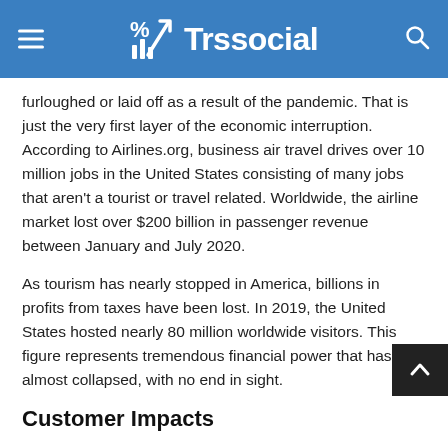Trssocial
furloughed or laid off as a result of the pandemic. That is just the very first layer of the economic interruption. According to Airlines.org, business air travel drives over 10 million jobs in the United States consisting of many jobs that aren't a tourist or travel related. Worldwide, the airline market lost over $200 billion in passenger revenue between January and July 2020.
As tourism has nearly stopped in America, billions in profits from taxes have been lost. In 2019, the United States hosted nearly 80 million worldwide visitors. This figure represents tremendous financial power that has almost collapsed, with no end in sight.
Customer Impacts